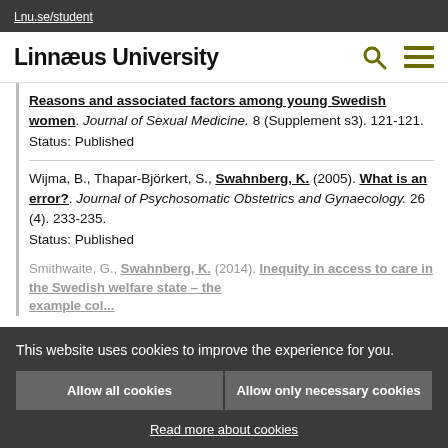Lnu.se/student
Linnæus University
Reasons and associated factors among young Swedish women. Journal of Sexual Medicine. 8 (Supplement s3). 121-121.
Status: Published
Wijma, B., Thapar-Björkert, S., Swahnberg, K. (2005). What is an error?. Journal of Psychosomatic Obstetrics and Gynaecology. 26 (4). 233-235.
Status: Published
This website uses cookies to improve the experience for you.
Allow all cookies
Allow only necessary cookies
Read more about cookies
Smithwaite, G., Swahnberg, K. (2014). Inequity in access to care in the Swedish welfare state – the example col...